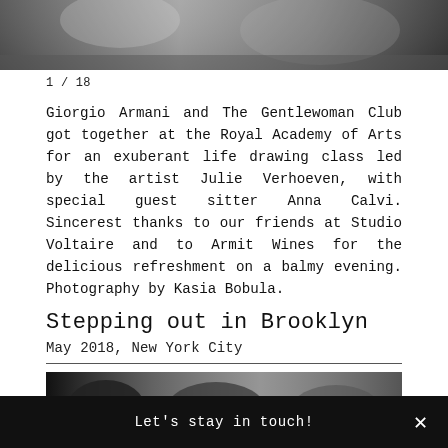[Figure (photo): Black and white photo showing people in an art class or event setting, cropped at the top of the page]
1 / 18
Giorgio Armani and The Gentlewoman Club got together at the Royal Academy of Arts for an exuberant life drawing class led by the artist Julie Verhoeven, with special guest sitter Anna Calvi. Sincerest thanks to our friends at Studio Voltaire and to Armit Wines for the delicious refreshment on a balmy evening. Photography by Kasia Bobula.
Stepping out in Brooklyn
May 2018, New York City
[Figure (photo): Black and white photo showing people, partially visible at bottom of page]
Let's stay in touch!